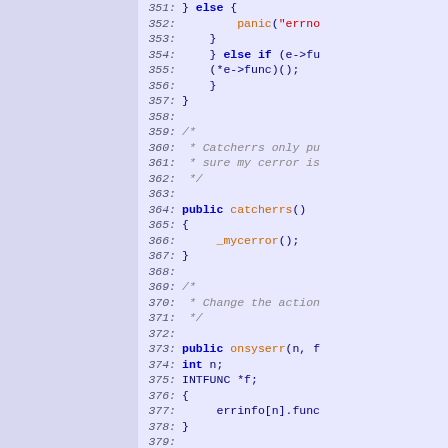Source code listing lines 351-381, showing C code for error handling functions catcherrs() and onsyserr()